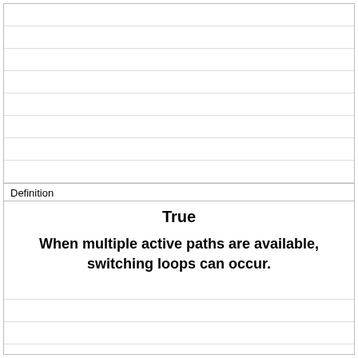Definition
True
When multiple active paths are available, switching loops can occur.
Term
___ ___ protocol prevents switching loops from occurring.